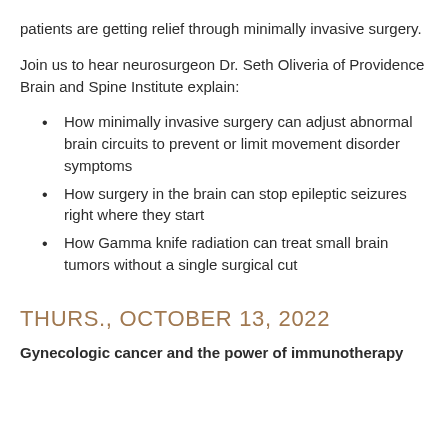patients are getting relief through minimally invasive surgery.
Join us to hear neurosurgeon Dr. Seth Oliveria of Providence Brain and Spine Institute explain:
How minimally invasive surgery can adjust abnormal brain circuits to prevent or limit movement disorder symptoms
How surgery in the brain can stop epileptic seizures right where they start
How Gamma knife radiation can treat small brain tumors without a single surgical cut
THURS., OCTOBER 13, 2022
Gynecologic cancer and the power of immunotherapy